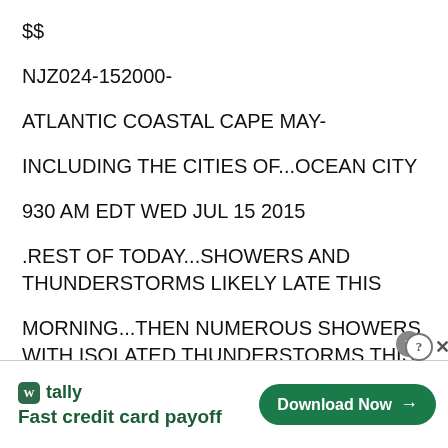$$
NJZ024-152000-
ATLANTIC COASTAL CAPE MAY-
INCLUDING THE CITIES OF...OCEAN CITY
930 AM EDT WED JUL 15 2015
.REST OF TODAY...SHOWERS AND THUNDERSTORMS LIKELY LATE THIS
MORNING...THEN NUMEROUS SHOWERS WITH ISOLATED THUNDERSTORMS THIS
[Figure (other): Advertisement banner for Tally app - Fast credit card payoff with Download Now button]